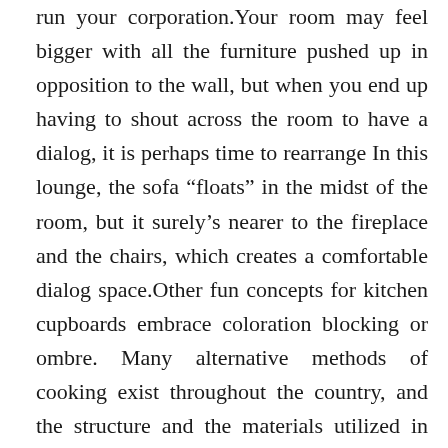run your corporation.Your room may feel bigger with all the furniture pushed up in opposition to the wall, but when you end up having to shout across the room to have a dialog, it is perhaps time to rearrange In this lounge, the sofa “floats” in the midst of the room, but it surely’s nearer to the fireplace and the chairs, which creates a comfortable dialog space.Other fun concepts for kitchen cupboards embrace coloration blocking or ombre. Many alternative methods of cooking exist throughout the country, and the structure and the materials utilized in constructing kitchens have diversified depending on the region. A black, white and beige coloration scheme gives this minimal, modern design a bit of heat in the grasp bathroom.As a substitute for arbitration, you may carry an individual motion in small claims court docket in your county of residence (or, if a business, your principal workplace).